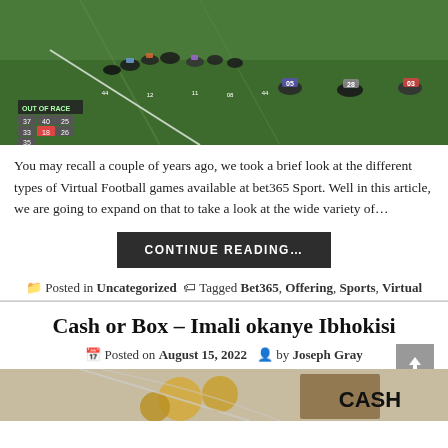[Figure (screenshot): Virtual horse racing game screenshot showing horses running on a grass track with HUD overlay showing numbers like OUT OF RACE, 37, 40, 25, 33, 18, 26, 35, 05, 28, 03]
You may recall a couple of years ago, we took a brief look at the different types of Virtual Football games available at bet365 Sport. Well in this article, we are going to expand on that to take a look at the wide variety of…
CONTINUE READING…
Posted in Uncategorized   Tagged Bet365, Offering, Sports, Virtual
Cash or Box – Imali okanye Ibhokisi
Posted on August 15, 2022   by Joseph Gray
[Figure (photo): Bottom portion of an image showing what appears to be coins/cash and a box with text 'CASH' visible]